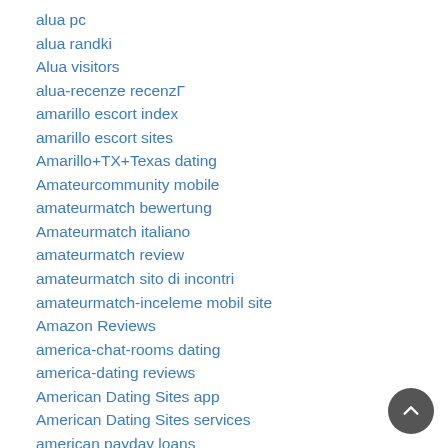alua pc
alua randki
Alua visitors
alua-recenze recenzГ
amarillo escort index
amarillo escort sites
Amarillo+TX+Texas dating
Amateurcommunity mobile
amateurmatch bewertung
Amateurmatch italiano
amateurmatch review
amateurmatch sito di incontri
amateurmatch-inceleme mobil site
Amazon Reviews
america-chat-rooms dating
america-dating reviews
American Dating Sites app
American Dating Sites services
american payday loans
american title loans
americash loans payday loans online
amerikan-arkadaslik Siteler
Amerikanische Dating-Seiten bewertung